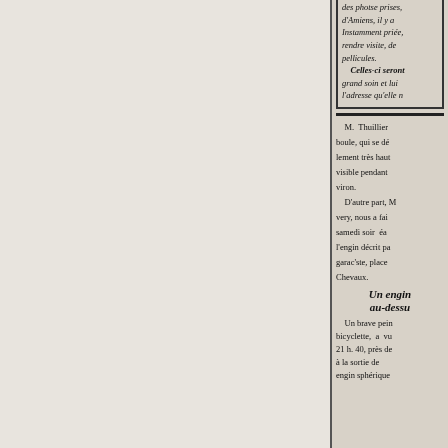des photes prises, d'Amiens, il y a instamment priée, rendre visite, de pellicules. Celles-ci seront grand soin et lui l'adresse qu'elle n
M. Thuillier boule, qui se dé lement très haut visible pendant viron.
D'autre part, M very, nous a fai samedi soir éa l'engin décrit pa garaciste, place Chevaux.
Un engin au-dessu
Un brave pein bicyclette, a vu 21 h. 40, près de à la sortie de engin sphérique